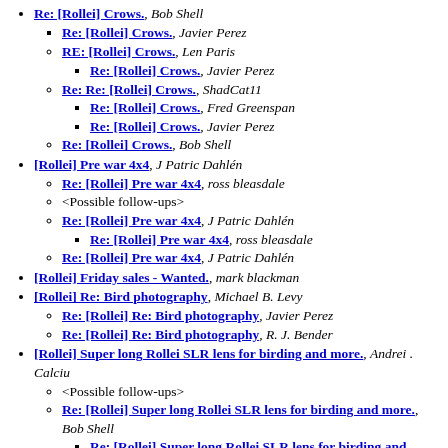Re: [Rollei] Crows., Bob Shell
Re: [Rollei] Crows., Javier Perez
RE: [Rollei] Crows., Len Paris
Re: [Rollei] Crows., Javier Perez
Re: Re: [Rollei] Crows., ShadCat11
Re: [Rollei] Crows., Fred Greenspan
Re: [Rollei] Crows., Javier Perez
Re: [Rollei] Crows., Bob Shell
[Rollei] Pre war 4x4, J Patric Dahlén
Re: [Rollei] Pre war 4x4, ross bleasdale
<Possible follow-ups>
Re: [Rollei] Pre war 4x4, J Patric Dahlén
Re: [Rollei] Pre war 4x4, ross bleasdale
Re: [Rollei] Pre war 4x4, J Patric Dahlén
[Rollei] Friday sales - Wanted., mark blackman
[Rollei] Re: Bird photography, Michael B. Levy
Re: [Rollei] Re: Bird photography, Javier Perez
Re: [Rollei] Re: Bird photography, R. J. Bender
[Rollei] Super long Rollei SLR lens for birding and more., Andrei . Calciu
<Possible follow-ups>
Re: [Rollei] Super long Rollei SLR lens for birding and more., Bob Shell
Re: [Rollei] Super long Rollei SLR lens for birding and more., Dietmar Langenohl